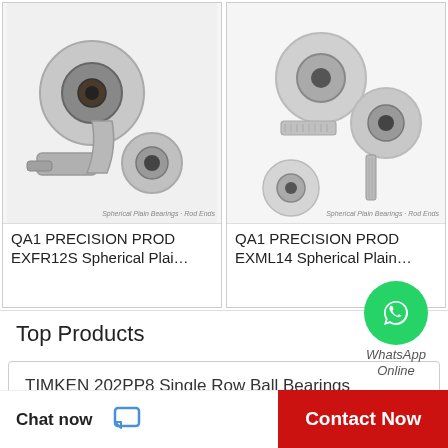[Figure (photo): QA1 EXFR12S spherical plain bearing - metal rod end bearing with circular eye, shown from angle]
QA1 PRECISION PROD EXFR12S Spherical Plai…
[Figure (photo): QA1 EXML14 spherical plain bearing - multiple metal rod end bearings with threaded shafts]
QA1 PRECISION PROD EXML14 Spherical Plain…
[Figure (logo): WhatsApp green circle icon with phone handset]
WhatsApp Online
Top Products
TIMKEN 202PP8 Single Row Ball Bearings
AMI UCNTPL206W Mounted Units & Inserts
AMI UCC311-32 Cartridge Unit Bearings
Chat now
Contact Now